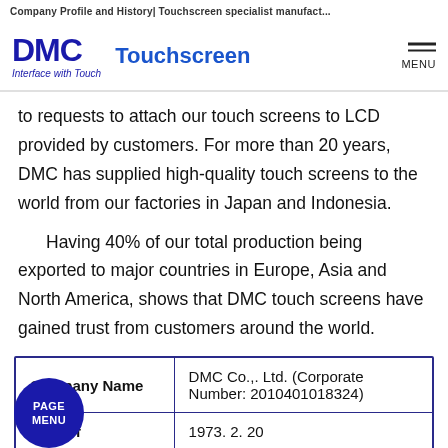Company Profile and History| Touchscreen specialist manufact...
[Figure (logo): DMC Touchscreen logo with tagline 'Interface with Touch' and hamburger menu icon with label MENU]
to requests to attach our touch screens to LCD provided by customers. For more than 20 years, DMC has supplied high-quality touch screens to the world from our factories in Japan and Indonesia.
Having 40% of our total production being exported to major countries in Europe, Asia and North America, shows that DMC touch screens have gained trust from customers around the world.
|  |  |
| --- | --- |
| Company Name | DMC Co.,. Ltd. (Corporate Number: 2010401018324) |
| Date of | 1973. 2. 20 |